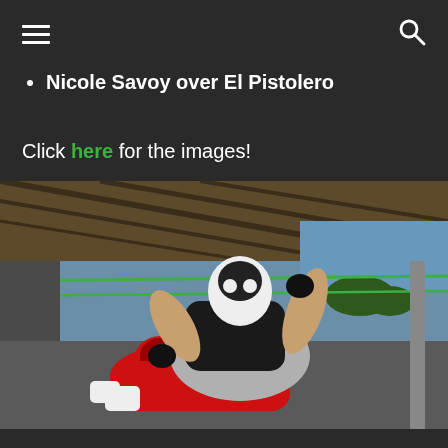Navigation menu and search icons
Nicole Savoy over El Pistolero
Click here for the images!
[Figure (photo): Two lucha libre wrestlers in a wrestling ring inside an outdoor arena. One masked wrestler in black outfit and white/black mask is on top, while the other in a red costume with red mask is pinned on the mat below. Green ropes of the ring visible in background with a wooden roof structure overhead.]